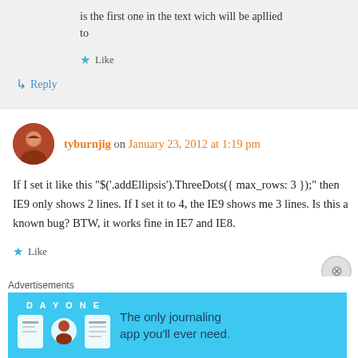is the first one in the text wich will be apllied to
★ Like
↳ Reply
tyburnjig on January 23, 2012 at 1:19 pm
If I set it like this "$('.addEllipsis').ThreeDots({ max_rows: 3 });" then IE9 only shows 2 lines. If I set it to 4, the IE9 shows me 3 lines. Is this a known bug? BTW, it works fine in IE7 and IE8.
★ Like
Advertisements
[Figure (illustration): Day One journaling app advertisement banner with teal background, app icons, and tagline 'The only journaling app you'll ever need.']